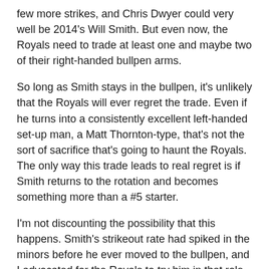few more strikes, and Chris Dwyer could very well be 2014's Will Smith. But even now, the Royals need to trade at least one and maybe two of their right-handed bullpen arms.
So long as Smith stays in the bullpen, it's unlikely that the Royals will ever regret the trade. Even if he turns into a consistently excellent left-handed set-up man, a Matt Thornton-type, that's not the sort of sacrifice that's going to haunt the Royals. The only way this trade leads to real regret is if Smith returns to the rotation and becomes something more than a #5 starter.
I'm not discounting the possibility that this happens. Smith's strikeout rate had spiked in the minors before he ever moved to the bullpen, and I advocated for the Royals to try him in that role in the second half of the season. But the Royals had clearly decided that his future was in the bullpen, even though they had a far greater need for starters than relievers. The Brewers seem to think he has a chance to succeed in that role, which is why the Royals were able to trade him for Aoki in the first place. If they're right, this will look bad for the Royals, but if he had stayed in KC he never would have had